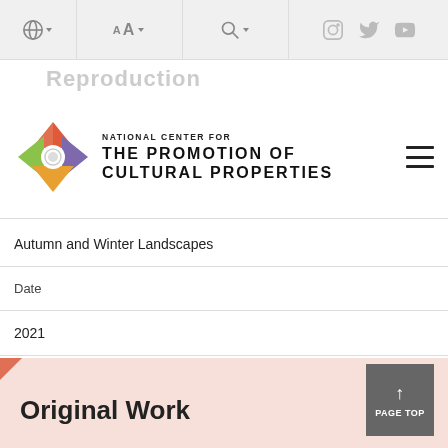Navigation bar with globe/language, font size, search, Instagram, Twitter, YouTube icons
Reproduction
[Figure (logo): National Center for the Promotion of Cultural Properties logo — colorful diamond shape with circle center]
NATIONAL CENTER FOR THE PROMOTION OF CULTURAL PROPERTIES
| Field | Value |
| --- | --- |
|  | Autumn and Winter Landscapes |
| Date |  |
|  | 2021 |
| Production |  |
|  | Canon Inc. |
Original Work
↑ PAGE TOP